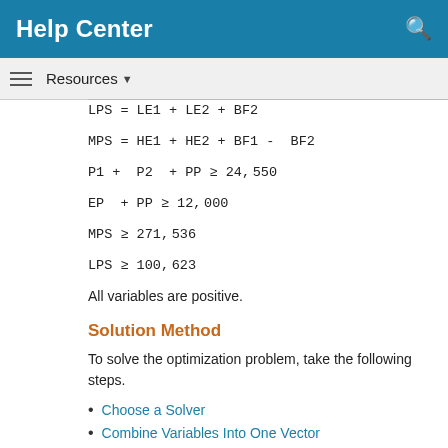Help Center
Resources ▼
All variables are positive.
Solution Method
To solve the optimization problem, take the following steps.
Choose a Solver
Combine Variables Into One Vector
Write Bound Constraints
Write Linear Inequality Constraints
Write Linear Equality Constraints
Write the Objective
Solve the Problem with linprog